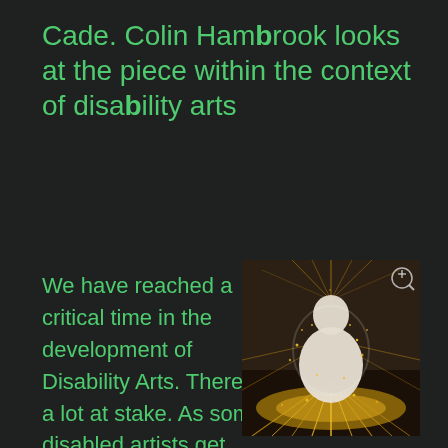Cade. Colin Hambrook looks at the piece within the context of disability arts
We have reached a critical time in the development of Disability Arts. There is a lot at stake. As some disabled artists get work and recognition in the wider Arts arena
[Figure (photo): A white sculptural figure of a seated person surrounded by radiating golden fiber optic lights on a dark background, creating a halo and starburst effect.]